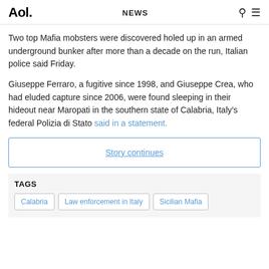Aol. | NEWS
Two top Mafia mobsters were discovered holed up in an armed underground bunker after more than a decade on the run, Italian police said Friday.
Giuseppe Ferraro, a fugitive since 1998, and Giuseppe Crea, who had eluded capture since 2006, were found sleeping in their hideout near Maropati in the southern state of Calabria, Italy’s federal Polizia di Stato said in a statement.
Story continues
TAGS
Calabria
Law enforcement in Italy
Sicilian Mafia